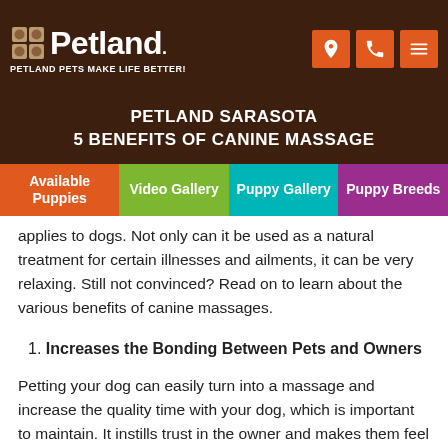Petland — PETLAND PETS MAKE LIFE BETTER!
PETLAND SARASOTA
5 BENEFITS OF CANINE MASSAGE
Available Puppies | Video Gallery | Puppy Gallery | Puppy Breeds
applies to dogs. Not only can it be used as a natural treatment for certain illnesses and ailments, it can be very relaxing. Still not convinced? Read on to learn about the various benefits of canine massages.
1. Increases the Bonding Between Pets and Owners
Petting your dog can easily turn into a massage and increase the quality time with your dog, which is important to maintain. It instills trust in the owner and makes them feel comfortable being around you. This applies to the seemingly most independent dogs, because they want to spend time with you, too.